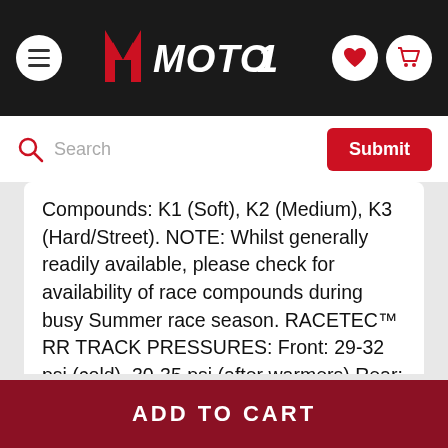MOTO1 - navigation header with menu, logo, wishlist and cart icons
Compounds: K1 (Soft), K2 (Medium), K3 (Hard/Street). NOTE: Whilst generally readily available, please check for availability of race compounds during busy Summer race season. RACETEC™ RR TRACK PRESSURES: Front: 29-32 psi (cold), 30-35 psi (after warmers) Rear: 23-26 psi (cold), 25-28 psi (after warmers) Tyre pressures as recommended by Metzeler for track usage. For street riding, please consult your motorcycle manufacturer's recommendations.
ADD TO CART